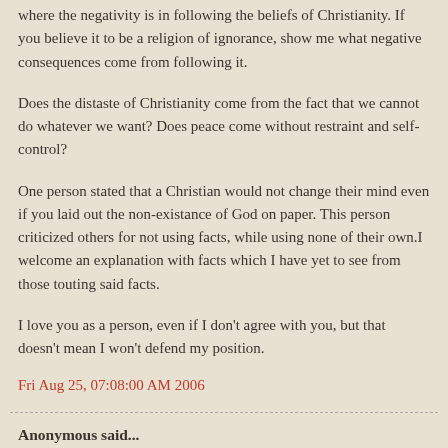where the negativity is in following the beliefs of Christianity. If you believe it to be a religion of ignorance, show me what negative consequences come from following it.
Does the distaste of Christianity come from the fact that we cannot do whatever we want? Does peace come without restraint and self-control?
One person stated that a Christian would not change their mind even if you laid out the non-existance of God on paper. This person criticized others for not using facts, while using none of their own.I welcome an explanation with facts which I have yet to see from those touting said facts.
I love you as a person, even if I don't agree with you, but that doesn't mean I won't defend my position.
Fri Aug 25, 07:08:00 AM 2006
Anonymous said...